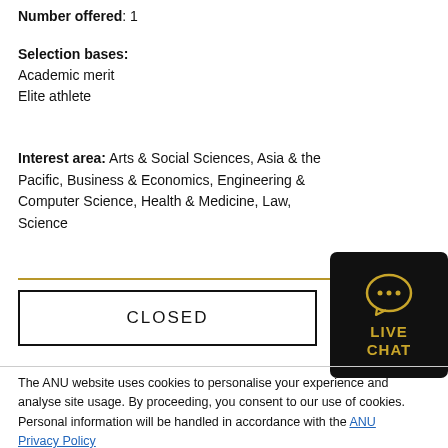Number offered: 1
Selection bases:
Academic merit
Elite athlete
Interest area: Arts & Social Sciences, Asia & the Pacific, Business & Economics, Engineering & Computer Science, Health & Medicine, Law, Science
[Figure (other): Live Chat button widget — black rounded rectangle with gold chat bubble icon and text 'LIVE CHAT']
CLOSED
The ANU website uses cookies to personalise your experience and analyse site usage. By proceeding, you consent to our use of cookies. Personal information will be handled in accordance with the ANU Privacy Policy
Close